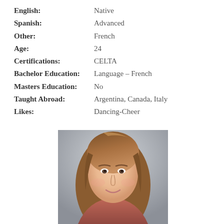English: Native
Spanish: Advanced
Other: French
Age: 24
Certifications: CELTA
Bachelor Education: Language - French
Masters Education: No
Taught Abroad: Argentina, Canada, Italy
Likes: Dancing-Cheer
[Figure (photo): Portrait photo of a young woman with long brown hair, smiling, against a light gray background]